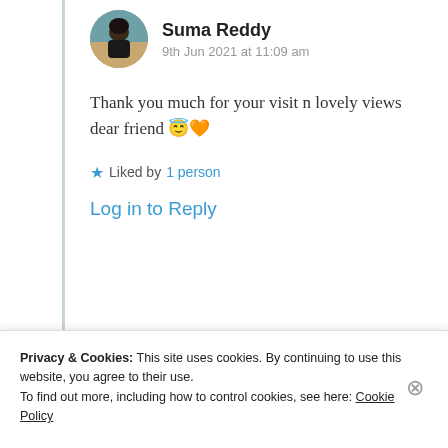Suma Reddy
9th Jun 2021 at 11:09 am
Thank you much for your visit n lovely views dear friend 😇🧡
★ Liked by 1 person
Log in to Reply
Privacy & Cookies: This site uses cookies. By continuing to use this website, you agree to their use.
To find out more, including how to control cookies, see here: Cookie Policy
Close and accept